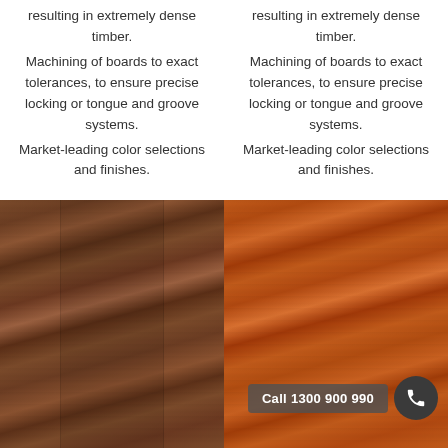resulting in extremely dense timber. Machining of boards to exact tolerances, to ensure precise locking or tongue and groove systems. Market-leading color selections and finishes.
resulting in extremely dense timber. Machining of boards to exact tolerances, to ensure precise locking or tongue and groove systems. Market-leading color selections and finishes.
[Figure (photo): Close-up photo of dark brown bamboo timber flooring boards with wood grain texture]
[Figure (photo): Close-up photo of reddish-orange bamboo timber flooring boards with wood grain texture, with a 'Call 1300 900 990' button overlay]